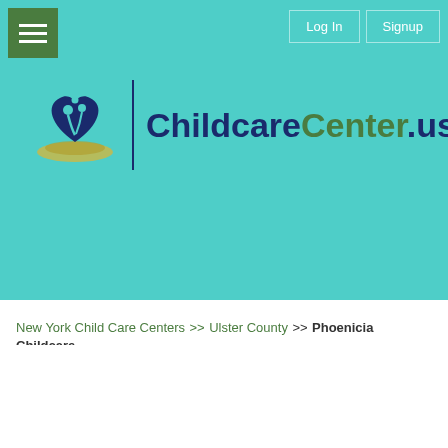[Figure (logo): ChildcareCenter.us logo with heart/people icon and site name in navy and green]
New York Child Care Centers >>Ulster County >>Phoenicia Childcare